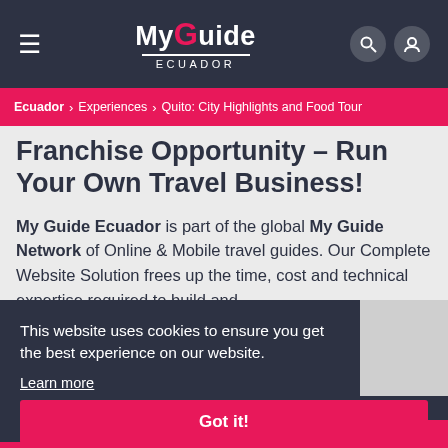My Guide Ecuador
Ecuador > Experiences > Quito: City Highlights and Food Tour
Franchise Opportunity – Run Your Own Travel Business!
My Guide Ecuador is part of the global My Guide Network of Online & Mobile travel guides. Our Complete Website Solution frees up the time, cost and technical expertise required to build and
This website uses cookies to ensure you get the best experience on our website.
Learn more
Got it!